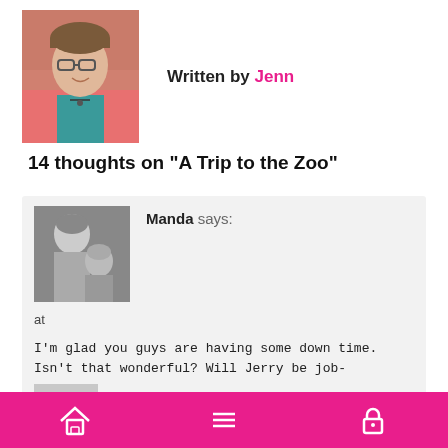[Figure (photo): Author photo of Jenn, a woman with glasses wearing a pink jacket, smiling.]
Written by Jenn
14 thoughts on “A Trip to the Zoo”
[Figure (photo): Black and white photo of commenter Manda showing two children.]
Manda says:
at
I’m glad you guys are having some down time. Isn’t that wonderful? Will Jerry be job-searching this week?
[Figure (photo): Gray placeholder avatar for commenter Sue.]
Sue says:
Home | Menu | Lock icons